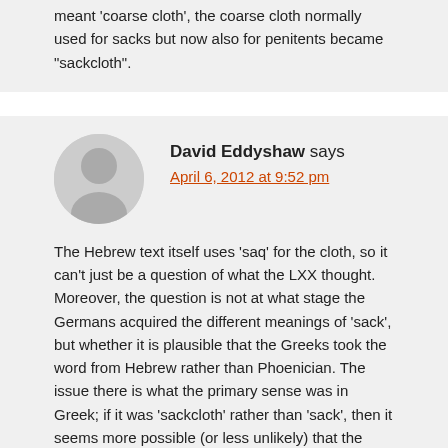meant 'coarse cloth', the coarse cloth normally used for sacks but now also for penitents became "sackcloth".
David Eddyshaw says
April 6, 2012 at 9:52 pm
The Hebrew text itself uses 'saq' for the cloth, so it can't just be a question of what the LXX thought. Moreover, the question is not at what stage the Germans acquired the different meanings of 'sack', but whether it is plausible that the Greeks took the word from Hebrew rather than Phoenician. The issue there is what the primary sense was in Greek; if it was 'sackcloth' rather than 'sack', then it seems more possible (or less unlikely) that the word got borrowed in the context of religion than trade. Having said that, Phoenician and Hebrew were after all